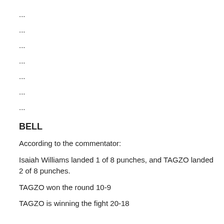...
...
...
...
...
...
...
BELL
According to the commentator:
Isaiah Williams landed 1 of 8 punches, and TAGZO landed 2 of 8 punches.
TAGZO won the round 10-9
TAGZO is winning the fight 20-18